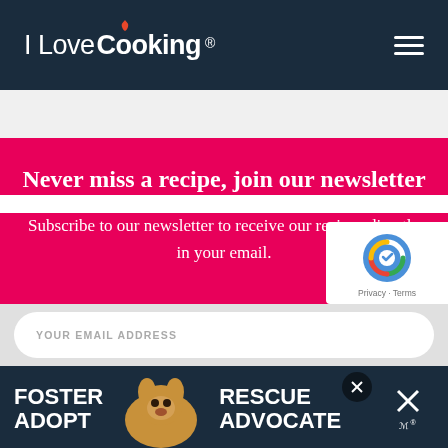I Love Cooking
Never miss a recipe, join our newsletter
Subscribe to our newsletter to receive our recipes directly in your email.
YOUR EMAIL ADDRESS
[Figure (screenshot): Dog adoption advertisement banner: FOSTER ADOPT | dog photo | RESCUE ADVOCATE]
[Figure (logo): reCAPTCHA badge with privacy and terms links]